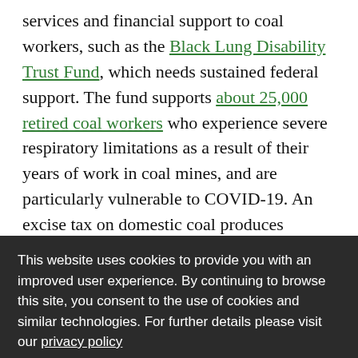services and financial support to coal workers, such as the Black Lung Disability Trust Fund, which needs sustained federal support. The fund supports about 25,000 retired coal workers who experience severe respiratory limitations as a result of their years of work in coal mines, and are particularly vulnerable to COVID-19. An excise tax on domestic coal produces revenue for the fund, but
that revenue has been chronically insufficient and ... 2021. and, during the onset of COVID-19, coal ... es lobbied to reduce the amount they pay into the fund.
This website uses cookies to provide you with an improved user experience. By continuing to browse this site, you consent to the use of cookies and similar technologies. For further details please visit our privacy policy